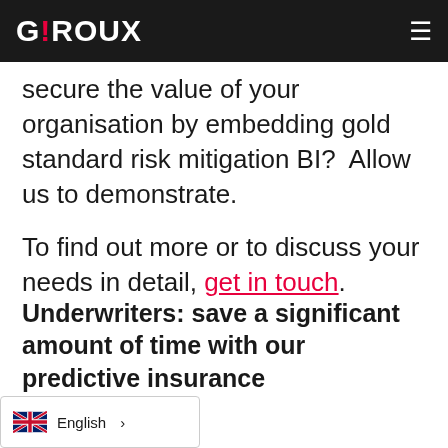GIROUX
secure the value of your organisation by embedding gold standard risk mitigation BI? Allow us to demonstrate.
To find out more or to discuss your needs in detail, get in touch.
Underwriters: save a significant amount of time with our predictive insurance
English